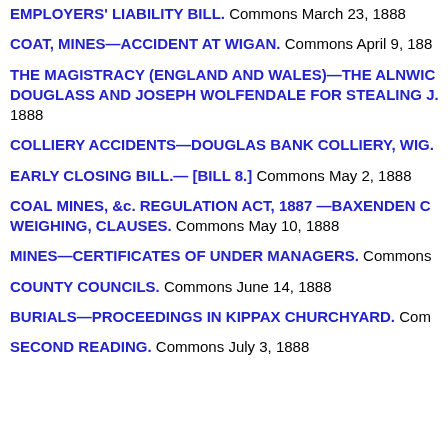EMPLOYERS' LIABILITY BILL. Commons March 23, 1888
COAT, MINES—ACCIDENT AT WIGAN. Commons April 9, 1888
THE MAGISTRACY (ENGLAND AND WALES)—THE ALNWICK DOUGLASS AND JOSEPH WOLFENDALE FOR STEALING J. 1888
COLLIERY ACCIDENTS—DOUGLAS BANK COLLIERY, WIG.
EARLY CLOSING BILL.— [BILL 8.] Commons May 2, 1888
COAL MINES, &c. REGULATION ACT, 1887 —BAXENDEN C WEIGHING, CLAUSES. Commons May 10, 1888
MINES—CERTIFICATES OF UNDER MANAGERS. Commons
COUNTY COUNCILS. Commons June 14, 1888
BURIALS—PROCEEDINGS IN KIPPAX CHURCHYARD. Com
SECOND READING. Commons July 3, 1888